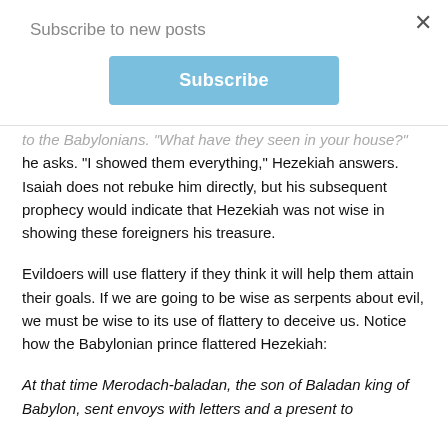Subscribe to new posts
Subscribe
to the Babylonians. "What have they seen in your house?" he asks. "I showed them everything," Hezekiah answers. Isaiah does not rebuke him directly, but his subsequent prophecy would indicate that Hezekiah was not wise in showing these foreigners his treasure.
Evildoers will use flattery if they think it will help them attain their goals. If we are going to be wise as serpents about evil, we must be wise to its use of flattery to deceive us. Notice how the Babylonian prince flattered Hezekiah:
At that time Merodach-baladan, the son of Baladan king of Babylon, sent envoys with letters and a present to